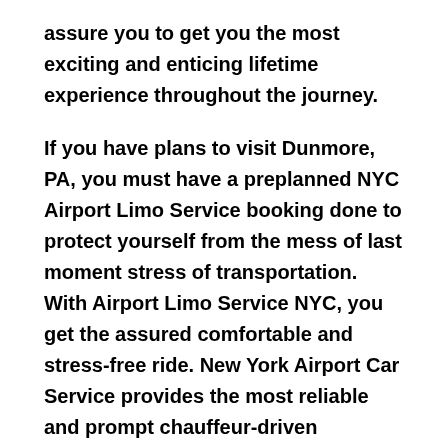assure you to get you the most exciting and enticing lifetime experience throughout the journey.
If you have plans to visit Dunmore, PA, you must have a preplanned NYC Airport Limo Service booking done to protect yourself from the mess of last moment stress of transportation. With Airport Limo Service NYC, you get the assured comfortable and stress-free ride. New York Airport Car Service provides the most reliable and prompt chauffeur-driven fascinating car rental service on the streets of Dunmore, PA.
It makes a great sense to visit the city most impressively by Airport Limo Service NYC. With New York Airport Limo Service, you don't have to take